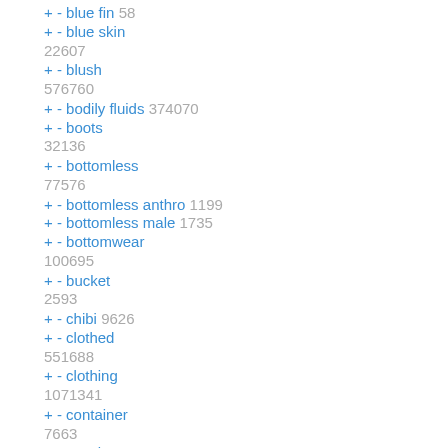+ - blue fin 58
+ - blue skin 22607
+ - blush 576760
+ - bodily fluids 374070
+ - boots 32136
+ - bottomless 77576
+ - bottomless anthro 1199
+ - bottomless male 1735
+ - bottomwear 100695
+ - bucket 2593
+ - chibi 9626
+ - clothed 551688
+ - clothing 1071341
+ - container 7663
+ - cosplay 9987
+ - crossover